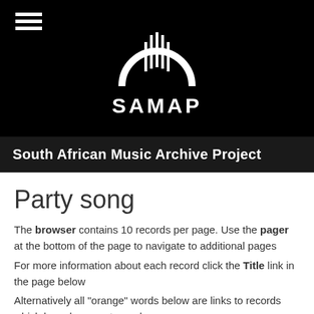[Figure (logo): SAMAP logo - white arch/harp icon on black background with text SAMAP below]
South African Music Archive Project
Party song
The browser contains 10 records per page. Use the pager at the bottom of the page to navigate to additional pages
For more information about each record click the Title link in the page below
Alternatively all "orange" words below are links to records which have been so tagged
Agana